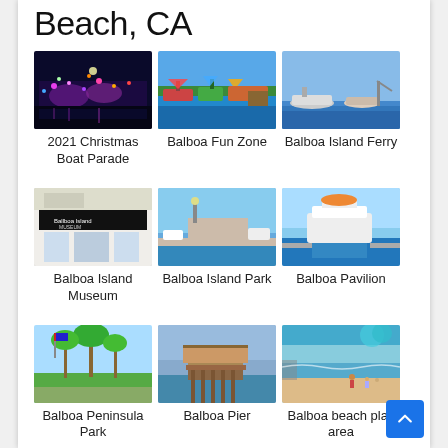Beach, CA
[Figure (photo): 2021 Christmas Boat Parade – boats with colorful lights at night]
2021 Christmas Boat Parade
[Figure (photo): Balboa Fun Zone – colorful waterfront area with boats and umbrellas]
Balboa Fun Zone
[Figure (photo): Balboa Island Ferry – boats on water]
Balboa Island Ferry
[Figure (photo): Balboa Island Museum – storefront with black awning]
Balboa Island Museum
[Figure (photo): Balboa Island Park – pier and waterfront on sunny day]
Balboa Island Park
[Figure (photo): Balboa Pavilion – white boat docked at marina]
Balboa Pavilion
[Figure (photo): Balboa Peninsula Park – palm trees and grass area with flags]
Balboa Peninsula Park
[Figure (photo): Balboa Pier – wooden pier extending over ocean]
Balboa Pier
[Figure (photo): Balboa beach play area – beach with people playing]
Balboa beach play area